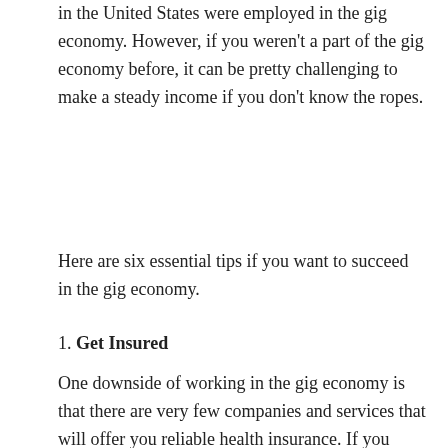in the United States were employed in the gig economy. However, if you weren't a part of the gig economy before, it can be pretty challenging to make a steady income if you don't know the ropes.
Here are six essential tips if you want to succeed in the gig economy.
1. Get Insured
One downside of working in the gig economy is that there are very few companies and services that will offer you reliable health insurance. If you work as a freelancer, you won't have any insurance at all outside of what you get for